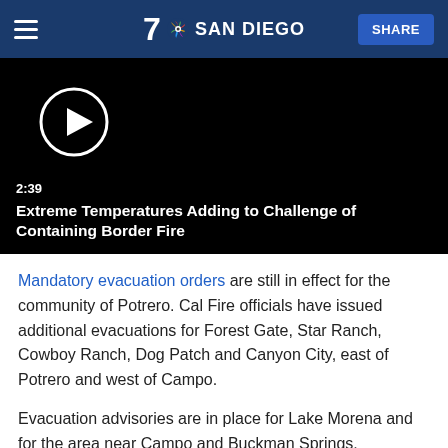7 SAN DIEGO | SHARE
[Figure (screenshot): Video player with play button. Duration shown as 2:39. Title: Extreme Temperatures Adding to Challenge of Containing Border Fire]
Mandatory evacuation orders are still in effect for the community of Potrero. Cal Fire officials have issued additional evacuations for Forest Gate, Star Ranch, Cowboy Ranch, Dog Patch and Canyon City, east of Potrero and west of Campo.
Evacuation advisories are in place for Lake Morena and for the area near Campo and Buckman Springs. Evacuations are